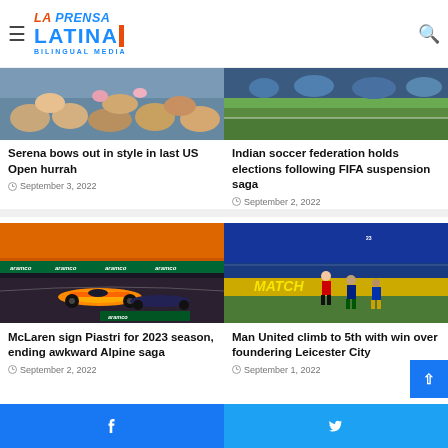La Prensa Latina Bilingual Media
[Figure (photo): Crowd at US Open tennis event, partial view]
Serena bows out in style in last US Open hurrah
September 3, 2022
[Figure (photo): Soccer match crowd and green field]
Indian soccer federation holds elections following FIFA suspension saga
September 2, 2022
[Figure (photo): McLaren Formula 1 car on track with Aramco sponsorship banners]
McLaren sign Piastri for 2023 season, ending awkward Alpine saga
September 2, 2022
[Figure (photo): Man United vs Leicester City soccer match action]
Man United climb to 5th with win over foundering Leicester City
September 1, 2022
Facebook | Twitter social share bar